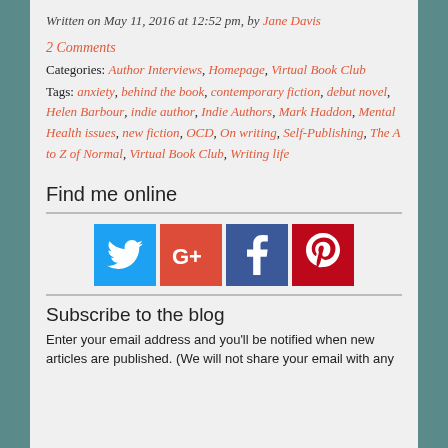Written on May 11, 2016 at 12:52 pm, by Jane Davis
2 Comments
Categories: Author Interviews, Homepage, Virtual Book Club
Tags: anxiety, behind the book, contemporary fiction, debut novel, Helen Barbour, indie author, Indie Authors, Mark Haddon, Mental Health issues, new fiction, OCD, On writing, Self-Publishing, The A to Z of Normal, Virtual Book Club, Writing life
Find me online
[Figure (infographic): Social media icons: Twitter (blue bird), Google+ (red G+), Facebook (blue f), Pinterest (red P)]
Subscribe to the blog
Enter your email address and you'll be notified when new articles are published. (We will not share your email with any